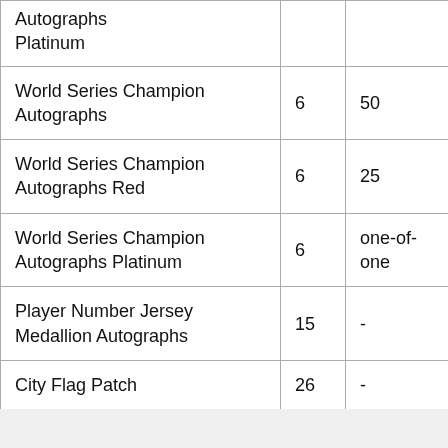| Card Name | Players | Print Run | ? |
| --- | --- | --- | --- |
| Autographs Platinum |  |  |  |
| World Series Champion Autographs | 6 | 50 | 1 |
| World Series Champion Autographs Red | 6 | 25 | 1 |
| World Series Champion Autographs Platinum | 6 | one-of-one | 1 |
| Player Number Jersey Medallion Autographs | 15 | - | N |
| City Flag Patch | 26 | - | 1 |